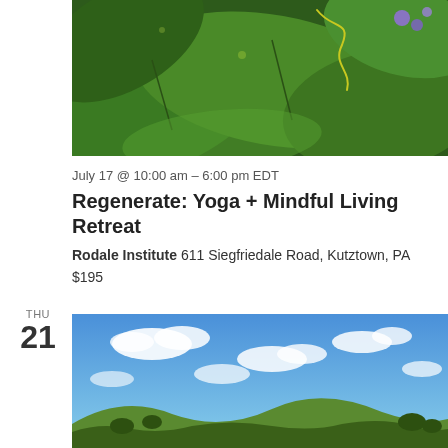[Figure (photo): Close-up photo of large green leaves with a curling vine tendril and small purple flowers in the background]
July 17 @ 10:00 am – 6:00 pm EDT
Regenerate: Yoga + Mindful Living Retreat
Rodale Institute 611 Siegfriedale Road, Kutztown, PA
$195
THU 21
[Figure (photo): Wide landscape photo of rolling green hills with trees under a blue sky with white clouds]